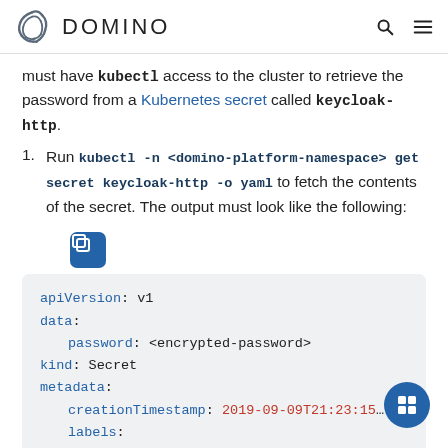DOMINO
must have kubectl access to the cluster to retrieve the password from a Kubernetes secret called keycloak-http.
Run kubectl -n <domino-platform-namespace> get secret keycloak-http -o yaml to fetch the contents of the secret. The output must look like the following:
[Figure (screenshot): Code block showing YAML output: apiVersion: v1, data:, password: <encrypted-password>, kind: Secret, metadata:, creationTimestamp: 2019-09-09T21:23:15, labels:, app.kubernetes.io/instance: keyw...]